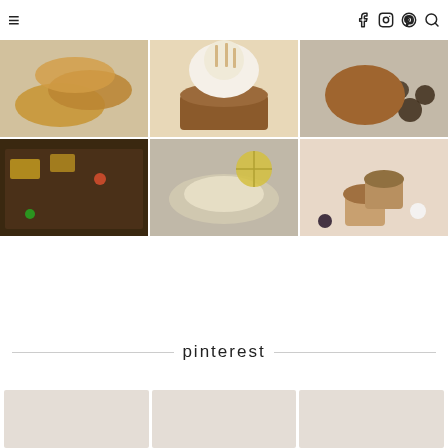≡ [hamburger menu] [facebook icon] [instagram icon] [pinterest icon] [search icon]
[Figure (photo): Grid of 6 food photos: empanadas, meringue tart, roasted chicken with blueberries, sheet pan nachos, fish with lemon, blackberry muffins]
pinterest
[Figure (photo): Three Pinterest thumbnail images partially visible at bottom of page]